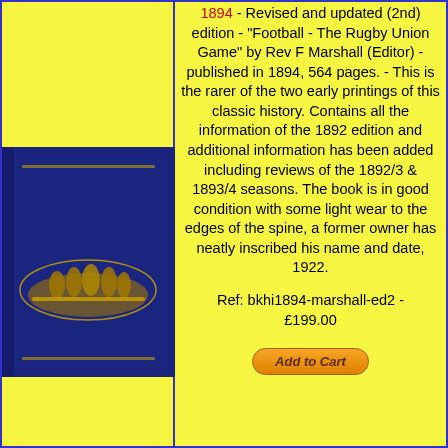[Figure (photo): Photo of a dark blue hardcover book with gold embossed decorative design on the cover showing figures]
1894 - Revised and updated (2nd) edition - "Football - The Rugby Union Game" by Rev F Marshall (Editor) - published in 1894, 564 pages. - This is the rarer of the two early printings of this classic history. Contains all the information of the 1892 edition and additional information has been added including reviews of the 1892/3 & 1893/4 seasons. The book is in good condition with some light wear to the edges of the spine, a former owner has neatly inscribed his name and date, 1922.
Ref:  bkhi1894-marshall-ed2 - £199.00